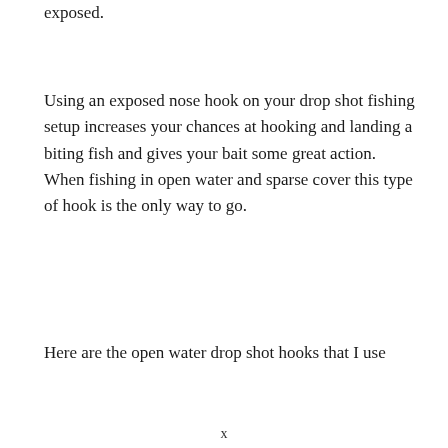exposed.
Using an exposed nose hook on your drop shot fishing setup increases your chances at hooking and landing a biting fish and gives your bait some great action. When fishing in open water and sparse cover this type of hook is the only way to go.
Here are the open water drop shot hooks that I use
x